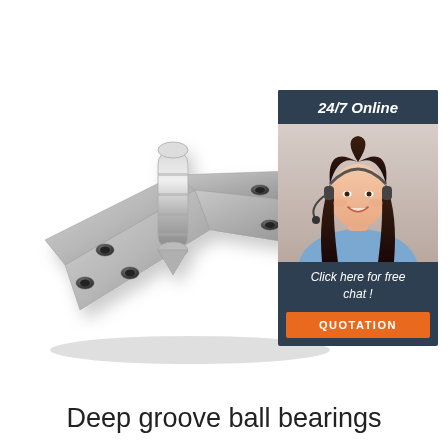[Figure (photo): A stainless steel door hinge with cylindrical pin, two leaves with countersunk screw holes, shown at an angle on white background]
[Figure (infographic): Customer service sidebar banner with '24/7 Online' header in dark navy, photo of smiling woman with headset, text 'Click here for free chat!', and orange 'QUOTATION' button]
Deep groove ball bearings